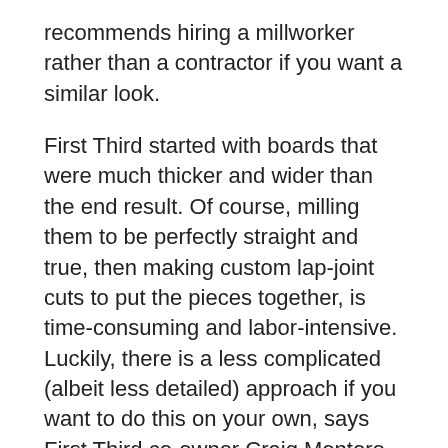recommends hiring a millworker rather than a contractor if you want a similar look.
First Third started with boards that were much thicker and wider than the end result. Of course, milling them to be perfectly straight and true, then making custom lap-joint cuts to put the pieces together, is time-consuming and labor-intensive. Luckily, there is a less complicated (albeit less detailed) approach if you want to do this on your own, says First Third co-owner Craig Montoro. To start, you'll need to make sure the floors and walls where you plan to put the partition are level. Next, head to your local lumberyard in search of the straightest, highest-quality pieces of lumber available. (Warning: Craig says it may take time for you to pick through the pile, hoping that no one